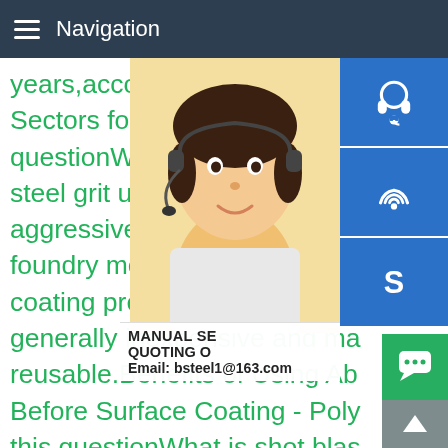Navigation
years,according to the WSA.1 Sectors for Steel Applications questionWhat is steel grit used for?What is steel grit used for?Steel grit is used where aggressive cleaning is needed on ferrous/foundry metals; also used for pre-coating preparation Abrasive blasting is generally inexpensive and many materials are reusable.Benefits of Using Abrasives Before Surface Coating - Poly this questionWhat is shot blasting? What is shot blasting used for?Shotblasting is a method used to clean,strengthen (peen) or polish metal.Shot blasting is used in almost every industry that uses metal,including aerospace,automotive,construction,foundry, many others.What is Shot Blasting? Shot Blasting Equipment - Wheelabrator
[Figure (photo): Customer service representative woman with headset, smiling]
MANUAL SE...
QUOTING O...
Email: bsteel1@163.com